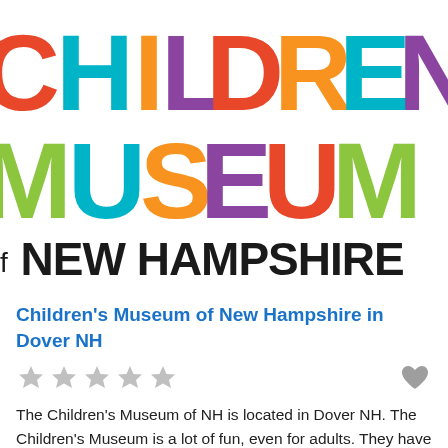[Figure (logo): Children's Museum of New Hampshire logo with colorful connected letter shapes in orange, teal, green, red, purple and other colors spelling CHILDREN'S MUSEUM]
f NEW HAMPSHIRE
Children's Museum of New Hampshire in Dover NH
[Figure (other): Five gray star rating icons and a gray heart icon]
The Children's Museum of NH is located in Dover NH. The Children's Museum is a lot of fun, even for adults. They have a lot of great hands-on exhibits. A popular exhibit includes Dino Detective where you get to play the role of